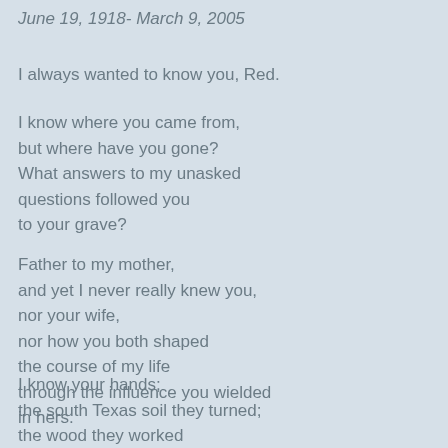June 19, 1918- March 9, 2005
I always wanted to know you, Red.
I know where you came from,
but where have you gone?
What answers to my unasked
questions followed you
to your grave?
Father to my mother,
and yet I never really knew you,
nor your wife,
nor how you both shaped
the course of my life
through the influence you wielded
in hers.
I know your hands;
the south Texas soil they turned;
the wood they worked
to form a desk, a chest,